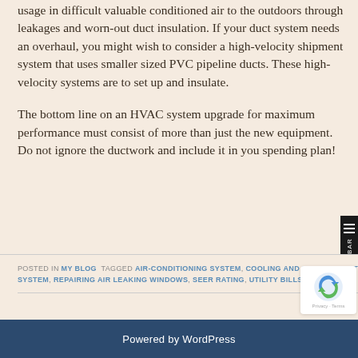usage in difficult valuable conditioned air to the outdoors through leakages and worn-out duct insulation. If your duct system needs an overhaul, you might wish to consider a high-velocity shipment system that uses smaller sized PVC pipeline ducts. These high-velocity systems are to set up and insulate.
The bottom line on an HVAC system upgrade for maximum performance must consist of more than just the new equipment. Do not ignore the ductwork and include it in your spending plan!
POSTED IN MY BLOG  TAGGED AIR-CONDITIONING SYSTEM, COOLING AND HEATING SYSTEM, HIGH-EFFICIENCY FURNACE, HIGH-EFFICIENCY SYSTEM, HVAC SYSTEM, INSULATED DUCTWORK SYSTEM, REPAIRING AIR LEAKING WINDOWS, SEER RATING, UTILITY BILLS
Powered by WordPress